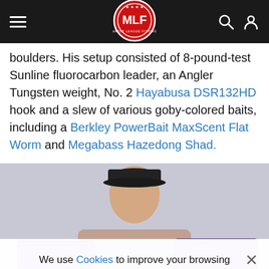MLF Major League Fishing navigation bar
boulders. His setup consisted of 8-pound-test Sunline fluorocarbon leader, an Angler Tungsten weight, No. 2 Hayabusa DSR132HD hook and a slew of various goby-colored baits, including a Berkley PowerBait MaxScent Flat Worm and Megabass Hazedong Shad.
[Figure (photo): Man in dark baseball cap holding fishing bait packages, cropped at mid-torso showing face and purple product bags]
We use Cookies to improve your browsing experience and help us improve our website. Our Privacy Policy and Terms of Service have changed. Click OK to agree.